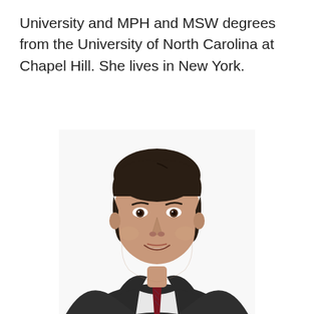University and MPH and MSW degrees from the University of North Carolina at Chapel Hill. She lives in New York.
[Figure (photo): Professional headshot of a middle-aged man with dark hair, wearing a dark suit jacket, white dress shirt, and a dark red/maroon patterned tie, smiling at the camera against a white background.]